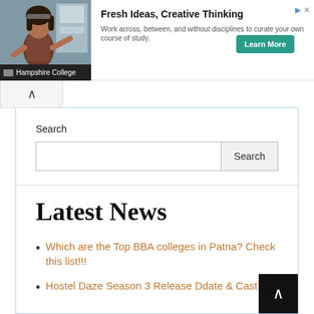[Figure (screenshot): Advertisement banner for Hampshire College featuring a photo of a woman in a studio/classroom, bold headline 'Fresh Ideas, Creative Thinking', descriptive text, and a teal 'Learn More' button with Hampshire College logo.]
Search
Search
Latest News
Which are the Top BBA colleges in Patna? Check this list!!!
Hostel Daze Season 3 Release Ddate & Cast